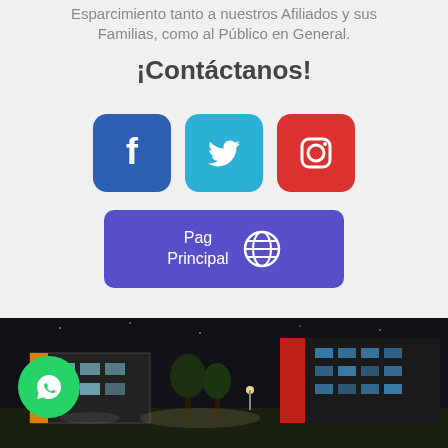Esparcimiento tanto a nuestros Afiliados y sus Familias, como al Público en General.
¡Contáctanos!
[Figure (infographic): Three social media icon buttons: Facebook (blue), Twitter (cyan), Instagram (red), and a purple 'Pag Principal' website button with globe icon]
[Figure (photo): Night photo of a modern building complex with illuminated facade, trees in foreground, and a WhatsApp button in the bottom-left corner]